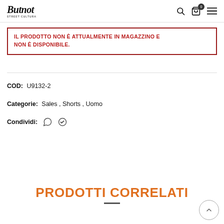Butnot — navigation header with logo, search, cart (0), and menu icons
IL PRODOTTO NON È ATTUALMENTE IN MAGAZZINO E NON È DISPONIBILE.
COD: U9132-2
Categorie: Sales , Shorts , Uomo
Condividi:
PRODOTTI CORRELATI